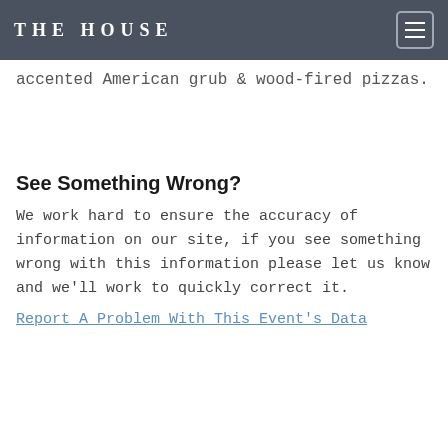THE HOUSE
accented American grub & wood-fired pizzas.
See Something Wrong?
We work hard to ensure the accuracy of information on our site, if you see something wrong with this information please let us know and we'll work to quickly correct it.
Report A Problem With This Event's Data